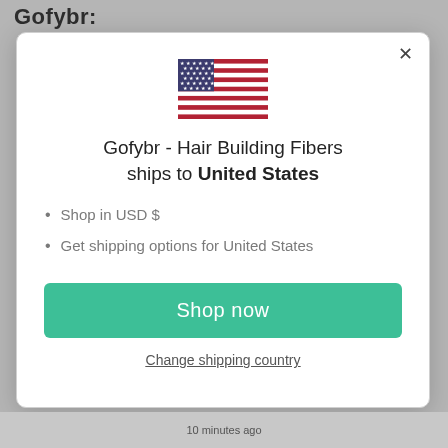Gofybr:
[Figure (illustration): US flag emoji/icon]
Gofybr - Hair Building Fibers ships to United States
Shop in USD $
Get shipping options for United States
Shop now
Change shipping country
10 minutes ago